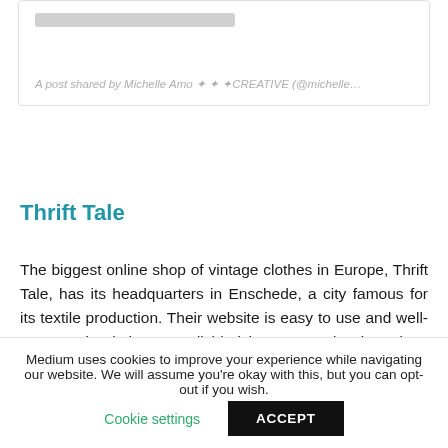[Figure (screenshot): Social media post embed card with a gray loading bar placeholder and italic gray text: 'A post shared by Michelle Amo ✦✦✦CREATIVE (@michelle…']
Thrift Tale
The biggest online shop of vintage clothes in Europe, Thrift Tale, has its headquarters in Enschede, a city famous for its textile production. Their website is easy to use and well-structured. Clothes are divided into categories based on which decade they come from. There is also a separate category for more luxurious brands and a kilo sale category
Medium uses cookies to improve your experience while navigating our website. We will assume you're okay with this, but you can opt-out if you wish.
Cookie settings    ACCEPT